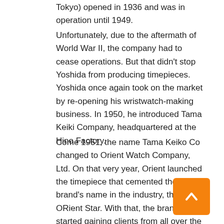Tokyo) opened in 1936 and was in operation until 1949.
Unfortunately, due to the aftermath of World War II, the company had to cease operations. But that didn't stop Yoshida from producing timepieces. Yoshida once again took on the market by re-opening his wristwatch-making business. In 1950, he introduced Tama Keiki Company, headquartered at the Hino Factory.
Come 1951, the name Tama Keiko Co changed to Orient Watch Company, Ltd. On that very year, Orient launched the timepiece that cemented the brand's name in the industry, the ORient Star. With that, the brand started gaining clients from all over the world. Thus, the Orient we know and love today.